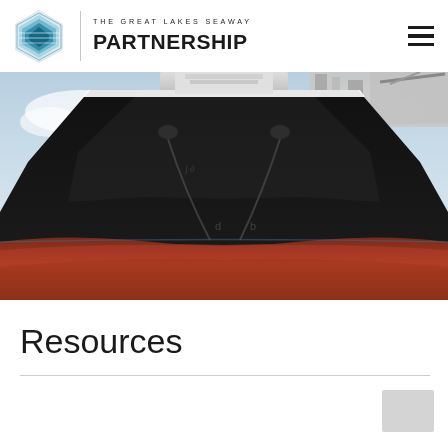[Figure (logo): The Great Lakes Seaway Partnership logo — geometric blue-green diamond/hexagon shape with layered horizontal bands, beside the organization name 'THE GREAT LAKES SEAWAY PARTNERSHIP' in uppercase letters, and a hamburger menu icon on the right.]
[Figure (photo): Close-up bow-on photograph of a large black and red cargo ship (bulk carrier or tanker) at sea. The black upper hull dominates the center; the red-painted lower hull is visible at waterline. Industrial cranes/masts visible at top.]
Resources